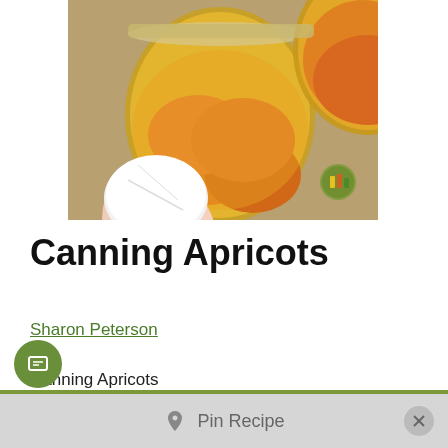[Figure (photo): Close-up photo of glass mason jars filled with canned apricots in syrup. A hand holds a white cloth near one open jar. Multiple golden-orange apricot halves visible in amber liquid.]
Canning Apricots
Sharon Peterson
Canning Apricots